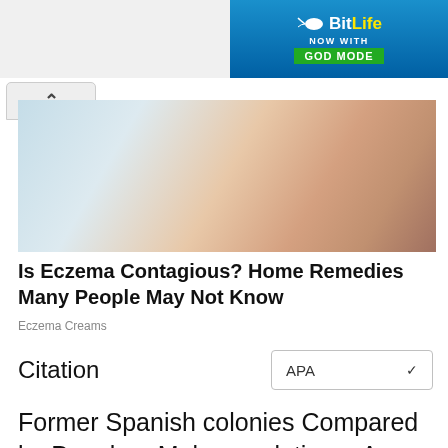[Figure (screenshot): BitLife game advertisement banner with blue background, sperm icon, 'BitLife' logo in white and yellow, 'NOW WITH' text, and 'GOD MODE' green button]
[Figure (photo): Close-up photo of a human arm/elbow showing skin, light blue and skin-tone colors, related to eczema article]
Is Eczema Contagious? Home Remedies Many People May Not Know
Eczema Creams
Citation
Former Spanish colonies Compared by People > Male population > Age 10-14